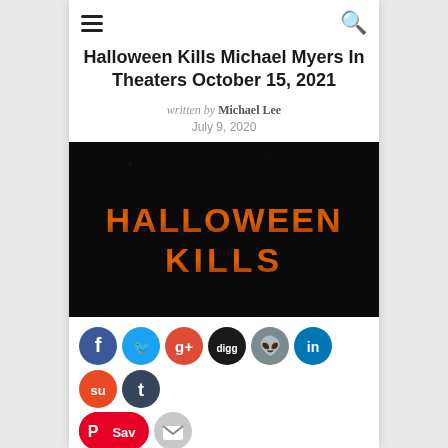Navigation bar with hamburger menu and search icon
Halloween Kills Michael Myers In Theaters October 15, 2021
written by Michael Lee
July 9, 2020
[Figure (photo): Black background movie title card showing 'HALLOWEEN KILLS' in orange glowing text]
[Figure (infographic): Row of social media sharing icons: Facebook, Twitter, Google+, Digg, Reddit, LinkedIn, StumbleUpon, Tumblr, Pinterest Save, Email]